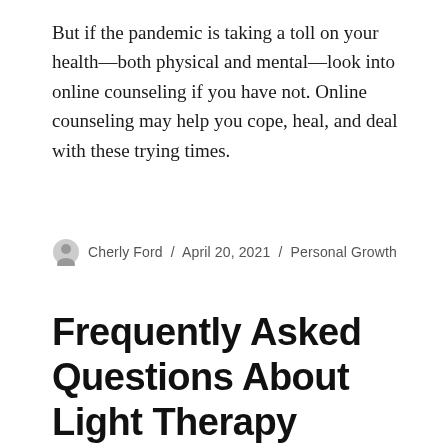But if the pandemic is taking a toll on your health—both physical and mental—look into online counseling if you have not. Online counseling may help you cope, heal, and deal with these trying times.
Cherly Ford / April 20, 2021 / Personal Growth
Frequently Asked Questions About Light Therapy